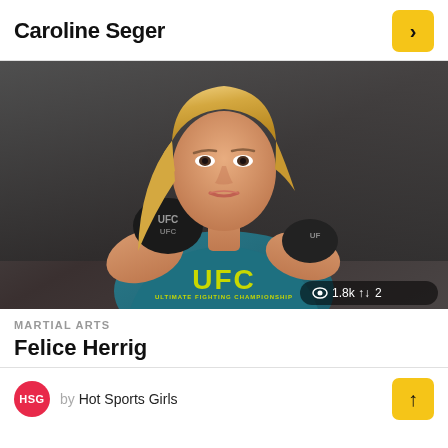Caroline Seger
[Figure (photo): A blonde female UFC fighter wearing a teal UFC sports bra and black UFC MMA gloves, in a fighting stance against a dark background. Stats overlay shows 1.8k views and 2 shares.]
MARTIAL ARTS
Felice Herrig
by Hot Sports Girls